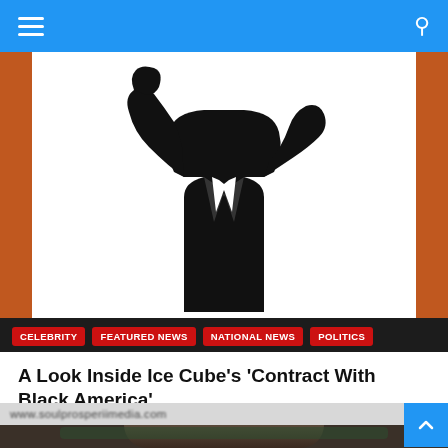[Figure (screenshot): Mobile website navigation bar with hamburger menu icon on left and search icon on right, blue background]
[Figure (illustration): Black silhouette of a person in a suit with raised fist, on white background with orange border]
CELEBRITY   FEATURED NEWS   NATIONAL NEWS   POLITICS
A Look Inside Ice Cube's ‘Contract With Black America’
October 15, 2020 / Fred Willis
[Figure (screenshot): URL bar showing www.soulprosperiimedia.com partially visible blurred]
[Figure (photo): Bottom portion of page showing top of a woman's head with long dark hair]